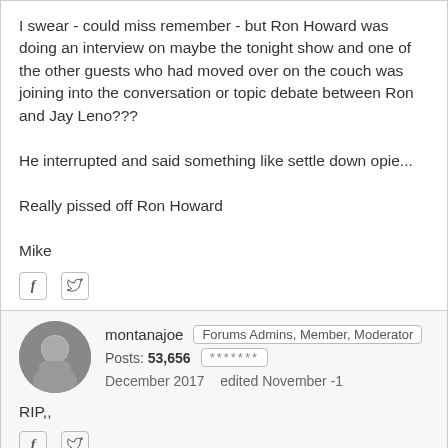I swear - could miss remember - but Ron Howard was doing an interview on maybe the tonight show and one of the other guests who had moved over on the couch was joining into the conversation or topic debate between Ron and Jay Leno???
He interrupted and said something like settle down opie...
Really pissed off Ron Howard
Mike
montanajoe   Forums Admins, Member, Moderator   Posts: 53,656  *******   December 2017   edited November -1
RIP,,